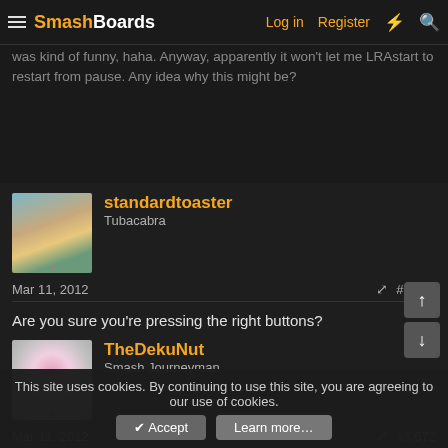SmashBoards | Log in | Register
I just finished cutting an iso. I downloaded dolphin and played a single match to test things using my keyboard to control my character, which was kind of funny, haha. Anyway, apparently it won't let me LRAstart to restart from pause. Any idea why this might be?
standardtoaster
Tubacabra
Mar 11, 2012
#3,671
Are you sure you're pressing the right buttons?
TheDekuNut
Smash Journeyman
Mar 11, 2012
#3,672
on your keyboard the computer cant register multiple key presses so no LRAStart
This site uses cookies. By continuing to use this site, you are agreeing to our use of cookies.